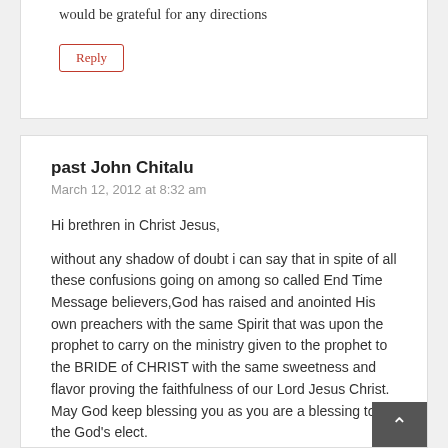would be grateful for any directions
Reply
past John Chitalu
March 12, 2012 at 8:32 am
Hi brethren in Christ Jesus,
without any shadow of doubt i can say that in spite of all these confusions going on among so called End Time Message believers,God has raised and anointed His own preachers with the same Spirit that was upon the prophet to carry on the ministry given to the prophet to the BRIDE of CHRIST with the same sweetness and flavor proving the faithfulness of our Lord Jesus Christ.
May God keep blessing you as you are a blessing to the God's elect.
Shalom